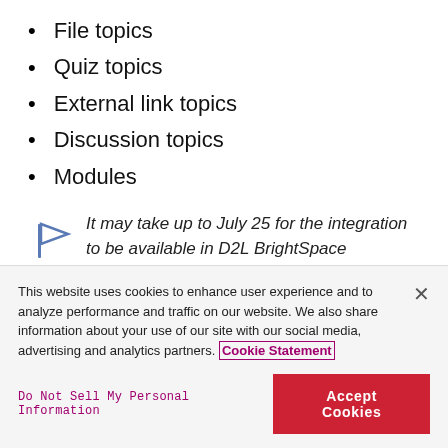File topics
Quiz topics
External link topics
Discussion topics
Modules
It may take up to July 25 for the integration to be available in D2L BrightSpace production environments, depending on which monthly release wave the environment is on.
This website uses cookies to enhance user experience and to analyze performance and traffic on our website. We also share information about your use of our site with our social media, advertising and analytics partners. Cookie Statement
Do Not Sell My Personal Information
Accept Cookies